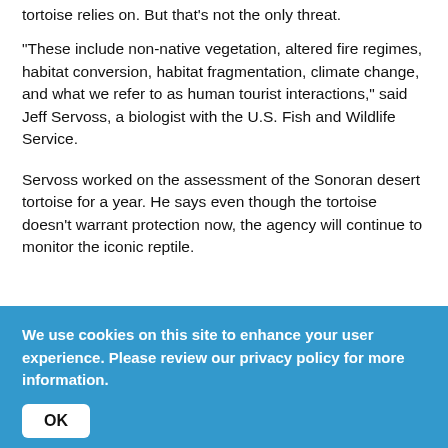tortoise relies on. But that's not the only threat.
“These include non-native vegetation, altered fire regimes, habitat conversion, habitat fragmentation, climate change, and what we refer to as human tourist interactions,” said Jeff Servoss, a biologist with the U.S. Fish and Wildlife Service.
Servoss worked on the assessment of the Sonoran desert tortoise for a year. He says even though the tortoise doesn’t warrant protection now, the agency will continue to monitor the iconic reptile.
Science	Sustainability	Environment
We use cookies on this site to enhance your user experience. Please review our privacy policy for more information.
OK